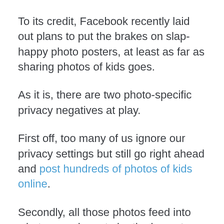To its credit, Facebook recently laid out plans to put the brakes on slap-happy photo posters, at least as far as sharing photos of kids goes.
As it is, there are two photo-specific privacy negatives at play.
First off, too many of us ignore our privacy settings but still go right ahead and post hundreds of photos of kids online.
Secondly, all those photos feed into what some deem to be the largest privately held database of facial recognition data in the world, thanks to Facebook collecting and storing it all.
Facebook in November said it was putting those two